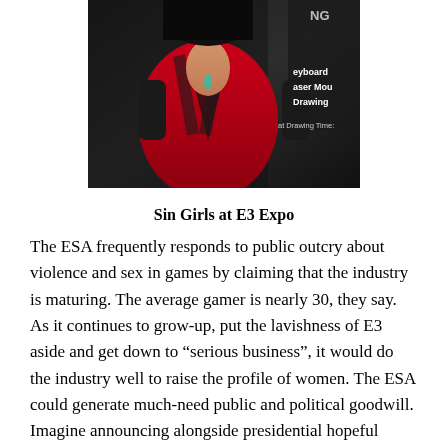[Figure (photo): A woman in a red and black outfit at what appears to be the E3 Expo gaming convention. Text visible in the background includes 'keyboard', 'laser mou', 'Drawing'.]
Sin Girls at E3 Expo
The ESA frequently responds to public outcry about violence and sex in games by claiming that the industry is maturing. The average gamer is nearly 30, they say. As it continues to grow-up, put the lavishness of E3 aside and get down to “serious business”, it would do the industry well to raise the profile of women. The ESA could generate much-need public and political goodwill. Imagine announcing alongside presidential hopeful Senator Hillary Rodham-Clinton, who frequently points her finger at video games for corrupting children, a